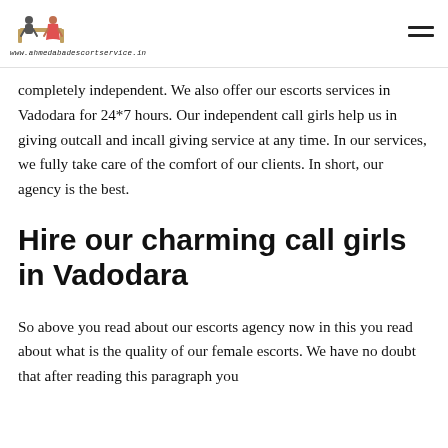www.ahmedabadescortservice.in
completely independent. We also offer our escorts services in Vadodara for 24*7 hours. Our independent call girls help us in giving outcall and incall giving service at any time. In our services, we fully take care of the comfort of our clients. In short, our agency is the best.
Hire our charming call girls in Vadodara
So above you read about our escorts agency now in this you read about what is the quality of our female escorts. We have no doubt that after reading this paragraph you